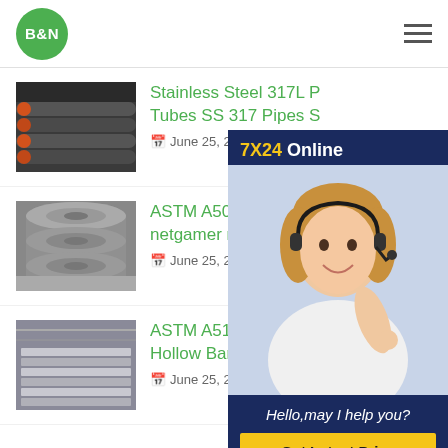B&N
[Figure (photo): Steel pipes stacked in warehouse, orange ends visible]
Stainless Steel 317L Tubes SS 317 Pipes S
June 25, 2021
[Figure (photo): Grey round steel pipes stacked]
ASTM A501 Carbon S netgamer me
June 25, 2021
[Figure (photo): Steel pipes in industrial warehouse interior]
ASTM A519 AISI 4340 Steel Pipe Hollow Bar Mechanical
June 25, 2021
[Figure (photo): Customer service representative with headset smiling, 7X24 Online chat panel with Get Latest Price button]